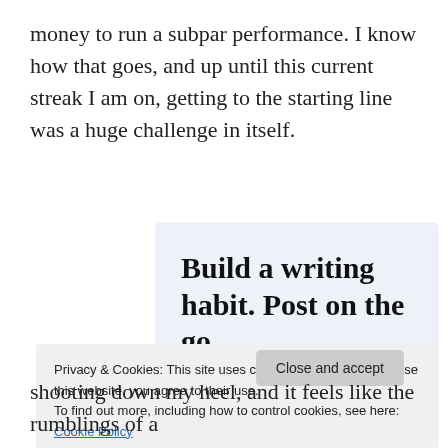money to run a subpar performance. I know how that goes, and up until this current streak I am on, getting to the starting line was a huge challenge in itself.
[Figure (infographic): WordPress app advertisement with light blue background. Large bold serif text reads 'Build a writing habit. Post on the go.' Below that is blue link text 'GET THE APP' and a WordPress logo icon (blue circular W logo).]
Privacy & Cookies: This site uses cookies. By continuing to use this website, you agree to their use.
To find out more, including how to control cookies, see here: Cookie Policy
shooting down my heel, and it feels like the rumblings of a